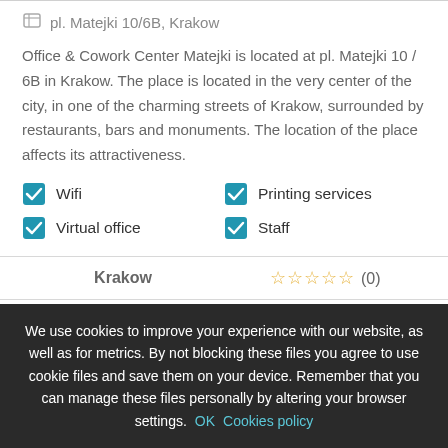pl. Matejki 10/6B, Krakow
Office & Cowork Center Matejki is located at pl. Matejki 10 / 6B in Krakow. The place is located in the very center of the city, in one of the charming streets of Krakow, surrounded by restaurants, bars and monuments. The location of the place affects its attractiveness.
Wifi
Printing services
Virtual office
Staff
Krakow
☆☆☆☆☆ (0)
Contact us
+48 881 202 203
We use cookies to improve your experience with our website, as well as for metrics. By not blocking these files you agree to use cookie files and save them on your device. Remember that you can manage these files personally by altering your browser settings. OK Cookies policy